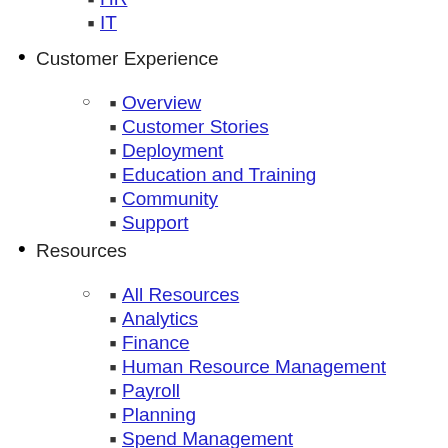Finance (link)
HR (link)
IT (link)
Customer Experience
Overview (link)
Customer Stories (link)
Deployment (link)
Education and Training (link)
Community (link)
Support (link)
Resources
All Resources (link)
Analytics (link)
Finance (link)
Human Resource Management (link)
Payroll (link)
Planning (link)
Spend Management (link)
Suite (link)
Technology (link)
Workday Peakon Employee Voice (link)
Company